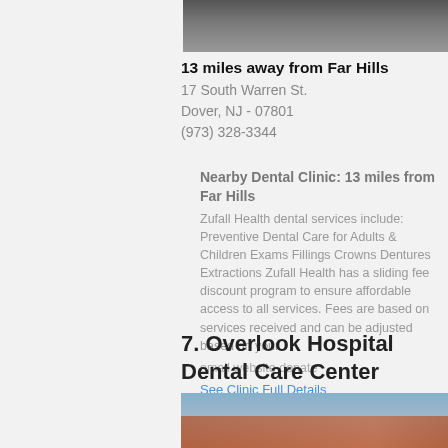[Figure (photo): Top portion of a building or street photo, partially visible at top of page]
13 miles away from Far Hills
17 South Warren St.
Dover, NJ - 07801
(973) 328-3344
Nearby Dental Clinic: 13 miles from Far Hills
Zufall Health dental services include: Preventive Dental Care for Adults & Children Exams Fillings Crowns Dentures Extractions Zufall Health has a sliding fee discount program to ensure affordable access to all services. Fees are based on services received and can be adjusted based on your
email website donate
See Clinic Full Details
7. Overlook Hospital Dental Care Center
[Figure (photo): Exterior photo of Overlook Hospital Dental Care Center building, modern brick structure with glass entrance]